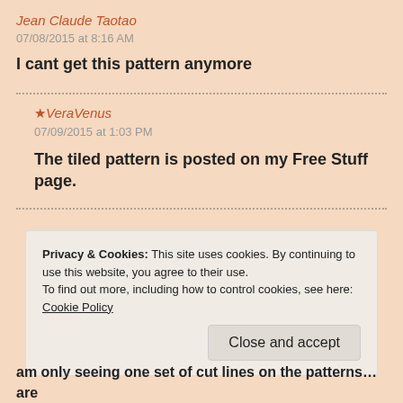Jean Claude Taotao
07/08/2015 at 8:16 AM
I cant get this pattern anymore
★ VeraVenus
07/09/2015 at 1:03 PM
The tiled pattern is posted on my Free Stuff page.
Privacy & Cookies: This site uses cookies. By continuing to use this website, you agree to their use.
To find out more, including how to control cookies, see here: Cookie Policy
Close and accept
am only seeing one set of cut lines on the patterns… are